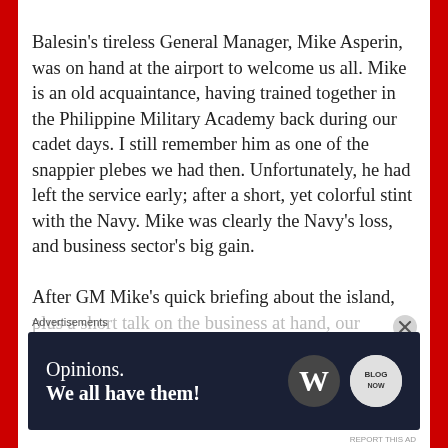Balesin's tireless General Manager, Mike Asperin, was on hand at the airport to welcome us all. Mike is an old acquaintance, having trained together in the Philippine Military Academy back during our cadet days. I still remember him as one of the snappier plebes we had then. Unfortunately, he had left the service early; after a short, yet colorful stint with the Navy. Mike was clearly the Navy's loss, and business sector's big gain.

After GM Mike's quick briefing about the island, plus a short talk on the business at hand, our
Advertisements
[Figure (infographic): Advertisement banner with dark navy background. Left side has text: 'Opinions. We all have them!' in white serif font. Right side shows WordPress logo (W in circle) and another circular blog logo.]